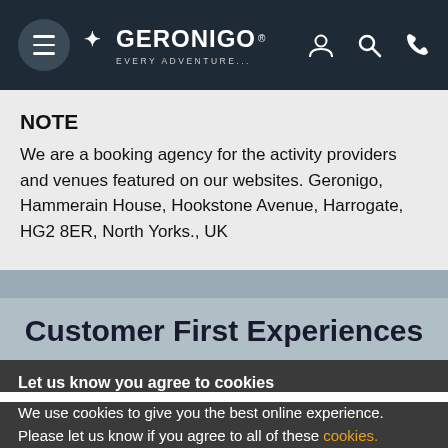Geronigo - Every Adventure. Navigation bar with menu, logo, user, search, and phone icons.
NOTE
We are a booking agency for the activity providers and venues featured on our websites. Geronigo, Hammerain House, Hookstone Avenue, Harrogate, HG2 8ER, North Yorks., UK
Customer First Experiences
Let us know you agree to cookies
We use cookies to give you the best online experience. Please let us know if you agree to all of these cookies.
✓ OK   Take me to settings